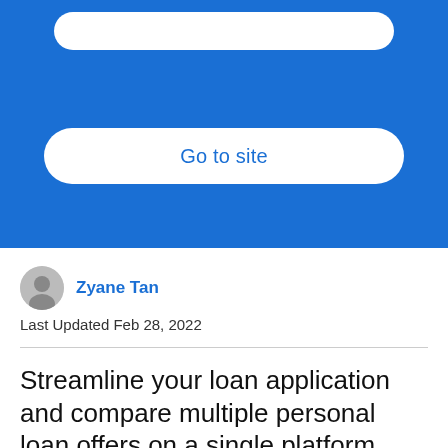[Figure (screenshot): Blue banner section with a white rounded rectangle bar at top and a 'Go to site' button below.]
Go to site
Zyane Tan
Last Updated Feb 28, 2022
Streamline your loan application and compare multiple personal loan offers on a single platform.